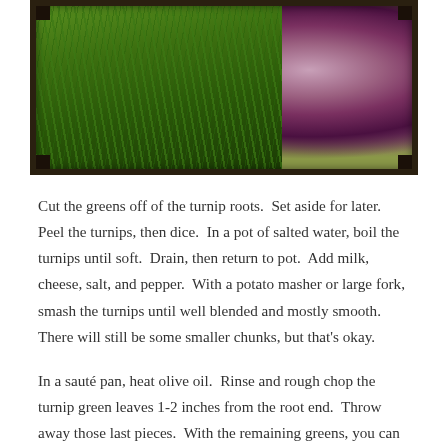[Figure (photo): Photo of turnips with greens/leaves on a wooden cutting board, showing purple-white turnip bulbs on the right and leafy greens on the left, framed with a dark wood border.]
Cut the greens off of the turnip roots.  Set aside for later.  Peel the turnips, then dice.  In a pot of salted water, boil the turnips until soft.  Drain, then return to pot.  Add milk, cheese, salt, and pepper.  With a potato masher or large fork, smash the turnips until well blended and mostly smooth.  There will still be some smaller chunks, but that's okay.
In a sauté pan, heat olive oil.  Rinse and rough chop the turnip green leaves 1-2 inches from the root end.  Throw away those last pieces.  With the remaining greens, you can trim the stems away or leave them intact; it's up to you.  Sauté with salt, pepper, garlic